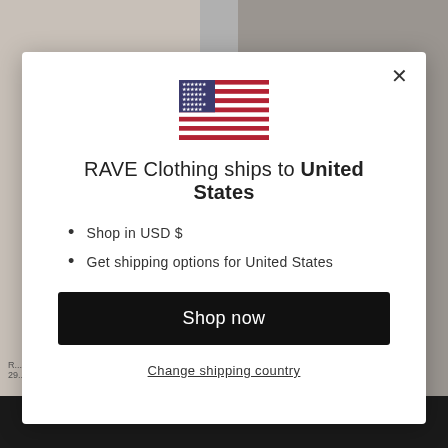[Figure (screenshot): Website modal dialog showing RAVE Clothing shipping destination selector for United States with US flag, bullet points, Shop now button, and Change shipping country link]
RAVE Clothing ships to United States
Shop in USD $
Get shipping options for United States
Shop now
Change shipping country